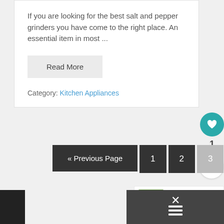If you are looking for the best salt and pepper grinders you have come to the right place. An essential item in most ...
Read More
Category: Kitchen Appliances
« Previous Page
1
2
3
1
[Figure (screenshot): Share icon button (circular with share symbol)]
WHAT'S NEXT Contact W… It's Veggie…